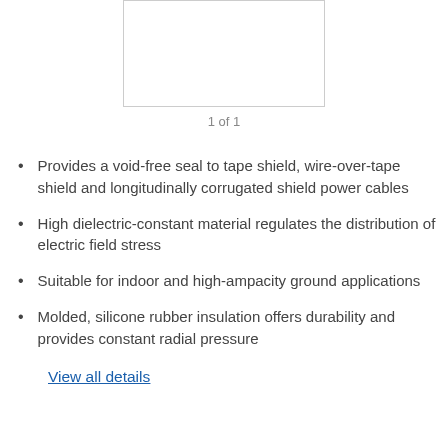[Figure (photo): Product image placeholder (white box with border)]
1 of 1
Provides a void-free seal to tape shield, wire-over-tape shield and longitudinally corrugated shield power cables
High dielectric-constant material regulates the distribution of electric field stress
Suitable for indoor and high-ampacity ground applications
Molded, silicone rubber insulation offers durability and provides constant radial pressure
View all details